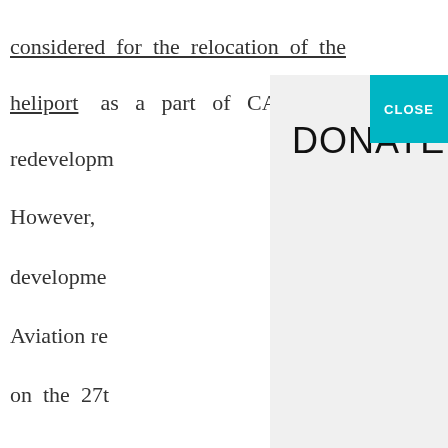considered for the relocation of the heliport as a part of CARL's redevelopm[ent plan.]
However, [the] developme[nt...] Aviation re[...] on the 27t[h...] landward s[ide...] seaward si[de...] Boardwalk [...]  current p[lan...] potentially [...]
[Figure (other): A modal overlay dialog with 'DONATE' text in large black sans-serif font on a light gray background, with a teal 'CLOSE' button in the top-right corner.]